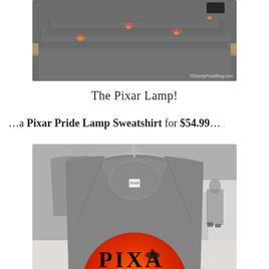[Figure (photo): Gray t-shirts folded and stacked on a wooden shelf, featuring small colorful Pixar lamp rainbow prints. Watermark reads ©DisneyFoodBlog.com]
The Pixar Lamp!
…a Pixar Pride Lamp Sweatshirt for $54.99…
[Figure (photo): Gray Pixar Pride Lamp Sweatshirt hanging on clear plastic hangers on a clothing rack, showing the front with an orange and red Pixar logo graphic at the bottom. Other shoppers visible in the background.]